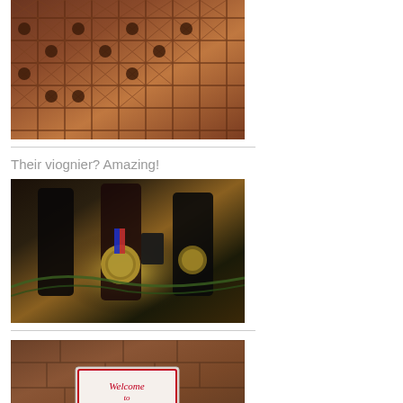[Figure (photo): Wine rack with wooden diamond-pattern cubby holes filled with wine bottles, warm brown wood tones]
[Figure (photo): Close-up of award-winning wine bottles with medals hanging around their necks, including blue ribbon medal, displayed with pine needle decorations on a wooden surface with backlighting]
Their viognier? Amazing!
[Figure (photo): Stone wall with a Welcome to Chrysalis sign, red and white sign with script lettering]